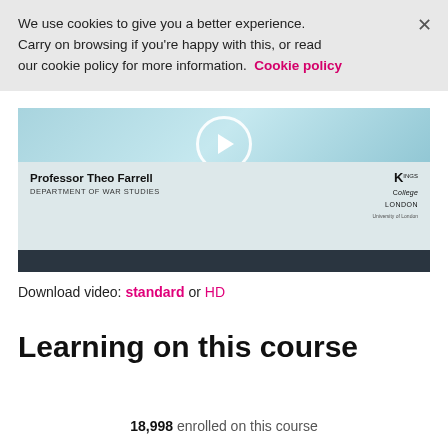We use cookies to give you a better experience. Carry on browsing if you're happy with this, or read our cookie policy for more information.  Cookie policy
[Figure (screenshot): Video thumbnail showing Professor Theo Farrell from the Department of War Studies at King's College London with a play button overlay and a colored gradient bar across the video.]
Download video: standard or HD
Learning on this course
18,998 enrolled on this course